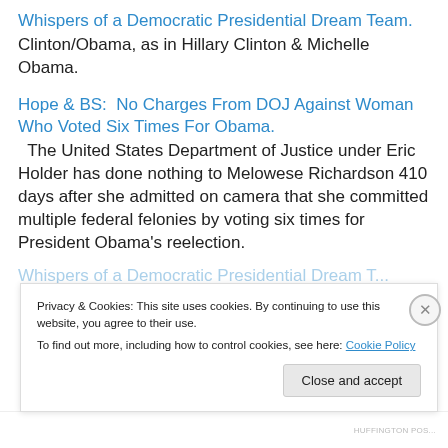Whispers of a Democratic Presidential Dream Team.
Clinton/Obama, as in Hillary Clinton & Michelle Obama.
Hope & BS:  No Charges From DOJ Against Woman Who Voted Six Times For Obama.
The United States Department of Justice under Eric Holder has done nothing to Melowese Richardson 410 days after she admitted on camera that she committed multiple federal felonies by voting six times for President Obama's reelection.
Privacy & Cookies: This site uses cookies. By continuing to use this website, you agree to their use.
To find out more, including how to control cookies, see here: Cookie Policy